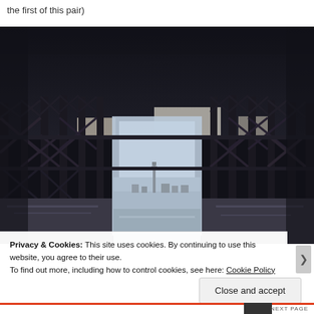the first of this pair)
[Figure (photo): View from underneath a pier, showing dark structural ironwork columns and cross-braces in silhouette against a bright sky. In the distance through the pier supports, a tower (Blackpool Tower) is visible on the horizon.]
Privacy & Cookies: This site uses cookies. By continuing to use this website, you agree to their use.
To find out more, including how to control cookies, see here: Cookie Policy
Close and accept